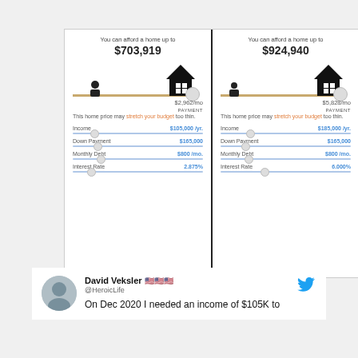[Figure (infographic): Side-by-side home affordability calculator comparison. Left panel: You can afford a home up to $703,919, payment $2,962/mo, Income $105,000/yr, Down Payment $165,000, Monthly Debt $800/mo, Interest Rate 2.875%. Right panel: You can afford a home up to $924,940, payment $5,828/mo, Income $185,000/yr, Down Payment $165,000, Monthly Debt $800/mo, Interest Rate 6.000%. Both show 'This home price may stretch your budget too thin.']
David Veksler 🇺🇸🇺🇸🇺🇸 @HeroicLife
On Dec 2020 I needed an income of $105K to